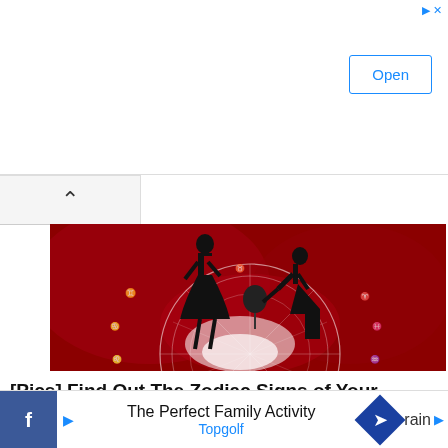Mycoplasma Cell Culture Test
Rapid lot-release test. Used by more than 40 therapeutics. Regulatory-recognized solution. Applied Biosystems
[Figure (photo): Silhouette of a man kneeling and presenting flowers to a woman, overlaid on a red zodiac/astrology wheel chart]
[Pics] Find Out The Zodiac Signs of Your Guardian Angel
The Perfect Family Activity
Topgolf
rain